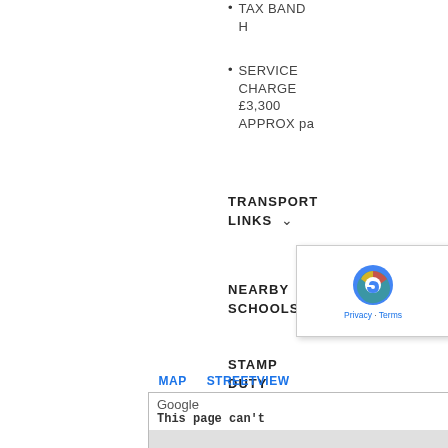TAX BAND H
SERVICE CHARGE £3,300 APPROX pa
TRANSPORT LINKS
NEARBY SCHOOLS
STAMP DUTY PAY
[Figure (screenshot): Map/Streetview tabs and embedded Google map showing an error: 'This page can't']
[Figure (screenshot): reCAPTCHA overlay widget with Google logo and Privacy/Terms links]